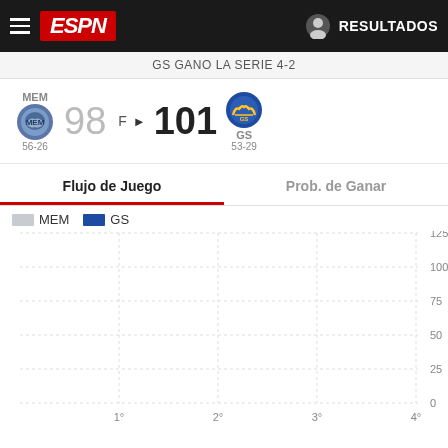ESPN RESULTADOS
GS GANO LA SERIE 4-2
MEM 56-26  98  F  101  GS 53-29
Flujo de Juego   Prob. de Ganar
[Figure (line-chart): Line chart showing game flow for MEM (grey) and GS (blue) across 4 quarters. Chart appears empty/no lines drawn — only gridlines visible with y-axis labels 0, 25, 50, 75, 100, 125 and x-axis labels 1°, 2°, 3°, 4°.]